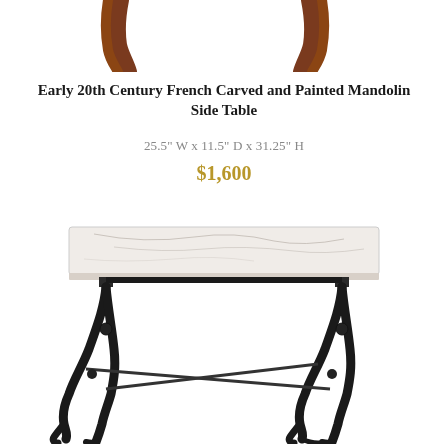[Figure (photo): Partial top view of a carved and painted wooden side table legs/frame, cropped at top of page]
Early 20th Century French Carved and Painted Mandolin Side Table
25.5" W x 11.5" D x 31.25" H
$1,600
[Figure (photo): Full view of an early 20th century French marble-top side table with ornate black cast iron mandolin-style legs and X-shaped stretcher base. The rectangular white marble top has gray veining.]